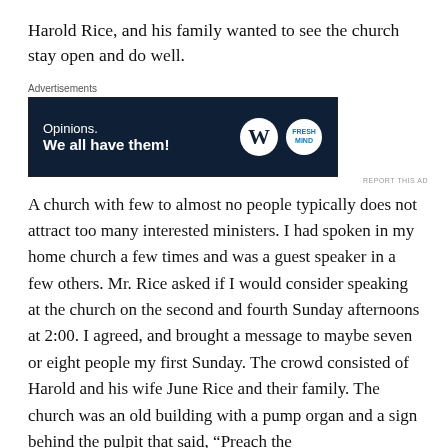Harold Rice, and his family wanted to see the church stay open and do well.
[Figure (other): Advertisement banner with dark navy background reading 'Opinions. We all have them!' with WordPress and FreshMind logos on the right.]
A church with few to almost no people typically does not attract too many interested ministers. I had spoken in my home church a few times and was a guest speaker in a few others. Mr. Rice asked if I would consider speaking at the church on the second and fourth Sunday afternoons at 2:00. I agreed, and brought a message to maybe seven or eight people my first Sunday. The crowd consisted of Harold and his wife June Rice and their family. The church was an old building with a pump organ and a sign behind the pulpit that said, “Preach the